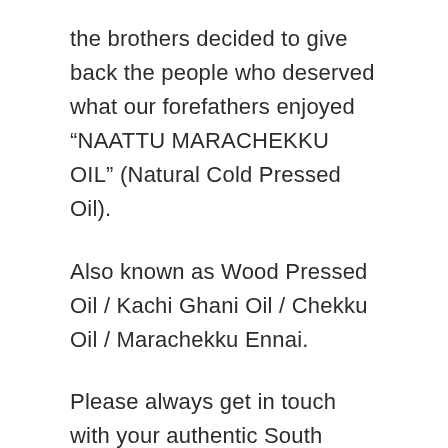the brothers decided to give back the people who deserved what our forefathers enjoyed “NAATTU MARACHEKKU OIL” (Natural Cold Pressed Oil).
Also known as Wood Pressed Oil / Kachi Ghani Oil / Chekku Oil / Marachekku Ennai.
Please always get in touch with your authentic South Indian native store.
....